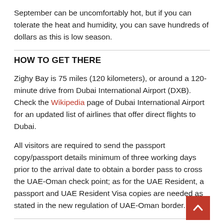September can be uncomfortably hot, but if you can tolerate the heat and humidity, you can save hundreds of dollars as this is low season.
HOW TO GET THERE
Zighy Bay is 75 miles (120 kilometers), or around a 120-minute drive from Dubai International Airport (DXB). Check the Wikipedia page of Dubai International Airport for an updated list of airlines that offer direct flights to Dubai.
All visitors are required to send the passport copy/passport details minimum of three working days prior to the arrival date to obtain a border pass to cross the UAE-Oman check point; as for the UAE Resident, a passport and UAE Resident Visa copies are needed as stated in the new regulation of UAE-Oman border.
PHOTOS